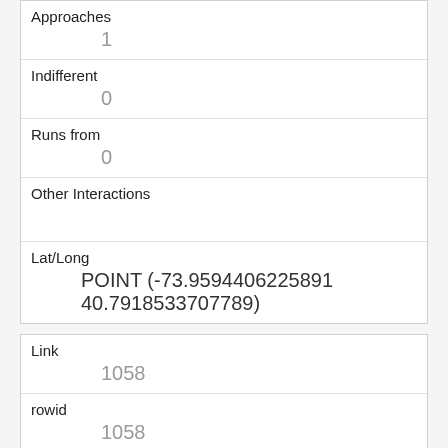| Approaches | 1 |
| Indifferent | 0 |
| Runs from | 0 |
| Other Interactions |  |
| Lat/Long | POINT (-73.9594406225891 40.7918533707789) |
| Link | 1058 |
| rowid | 1058 |
| longitude | -73.97371007431829 |
| latitude | 40.7708360121735 |
| Unique Squirrel ID |  |